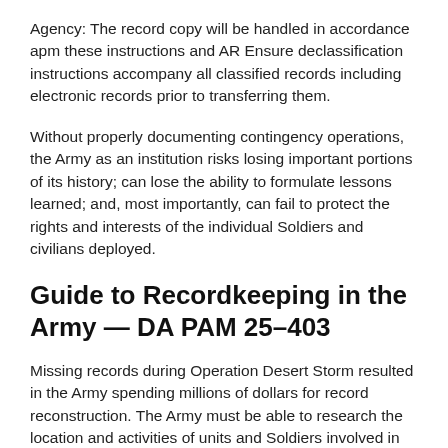Agency: The record copy will be handled in accordance apm these instructions and AR Ensure declassification instructions accompany all classified records including electronic records prior to transferring them.
Without properly documenting contingency operations, the Army as an institution risks losing important portions of its history; can lose the ability to formulate lessons learned; and, most importantly, can fail to protect the rights and interests of the individual Soldiers and civilians deployed.
Guide to Recordkeeping in the Army — DA PAM 25–403
Missing records during Operation Desert Storm resulted in the Army spending millions of dollars for record reconstruction. The Army must be able to research the location and activities of units and Soldiers involved in